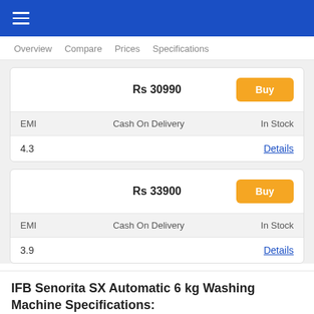Navigation bar with hamburger menu
Overview   Compare   Prices   Specifications
|  | Price | Action |
| --- | --- | --- |
|  | Rs 30990 | Buy |
| EMI | Cash On Delivery | In Stock |
| 4.3 |  | Details |
|  | Price | Action |
| --- | --- | --- |
|  | Rs 33900 | Buy |
| EMI | Cash On Delivery | In Stock |
| 3.9 |  | Details |
IFB Senorita SX Automatic 6 kg Washing Machine Specifications: